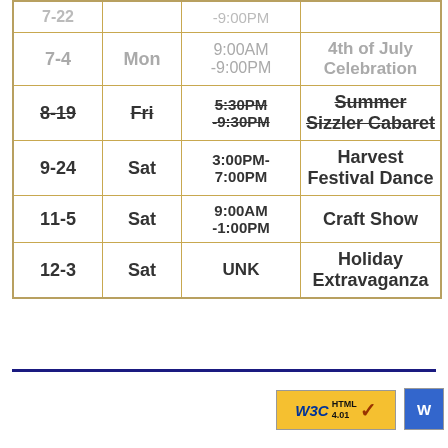| Date | Day | Time | Event |
| --- | --- | --- | --- |
| 7-22 (partial) |  | -9:00PM | (partially visible) |
| 7-4 | Mon | 9:00AM -9:00PM | 4th of July Celebration |
| 8-19 | Fri | 5:30PM -9:30PM (strikethrough) | Summer Sizzler Cabaret (strikethrough) |
| 9-24 | Sat | 3:00PM- 7:00PM | Harvest Festival Dance |
| 11-5 | Sat | 9:00AM -1:00PM | Craft Show |
| 12-3 | Sat | UNK | Holiday Extravaganza |
[Figure (logo): W3C HTML 4.01 validation badge with gold background and checkmark]